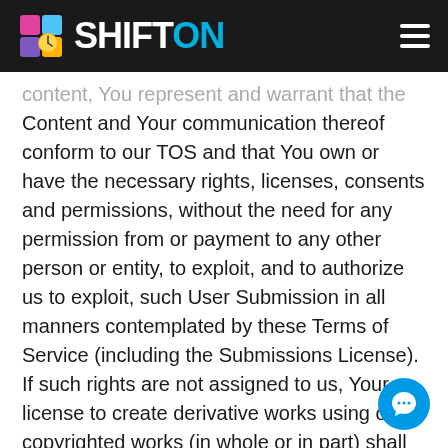SHIFTON
content, You represent and warrant that the Content and Your communication thereof conform to our TOS and that You own or have the necessary rights, licenses, consents and permissions, without the need for any permission from or payment to any other person or entity, to exploit, and to authorize us to exploit, such User Submission in all manners contemplated by these Terms of Service (including the Submissions License). If such rights are not assigned to us, Your license to create derivative works using our copyrighted works (in whole or in part) shall be null and void. You agree to the foregoing grant of rights, consents, agreements and assignments whether or not Your User Submissions are used by us. You hereby appoint us as Your agent with full power to enter